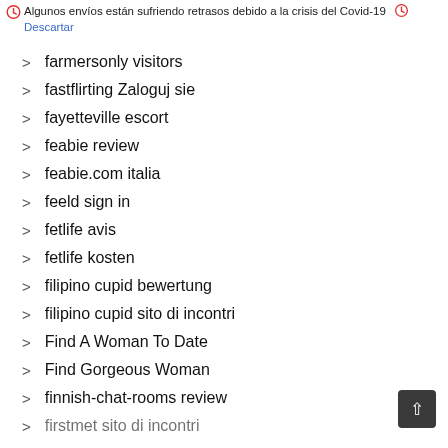eurodate web
Algunos envíos están sufriendo retrasos debido a la crisis del Covid-19  Descartar
farmersonly visitors
fastflirting Zaloguj sie
fayetteville escort
feabie review
feabie.com italia
feeld sign in
fetlife avis
fetlife kosten
filipino cupid bewertung
filipino cupid sito di incontri
Find A Woman To Date
Find Gorgeous Woman
finnish-chat-rooms review
firstmet sito di incontri